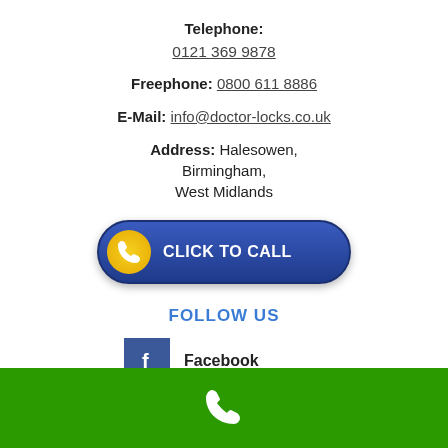Telephone: 0121 369 9878
Freephone: 0800 611 8886
E-Mail: info@doctor-locks.co.uk
Address: Halesowen, Birmingham, West Midlands
[Figure (infographic): Blue rounded button with yellow phone icon and white text CLICK TO CALL]
FOLLOW US
[Figure (infographic): Facebook icon (blue square with white f) and label Facebook]
[Figure (infographic): Twitter icon (dark blue square with white bird) and label Twitter]
[Figure (infographic): Green footer bar with white phone handset icon]